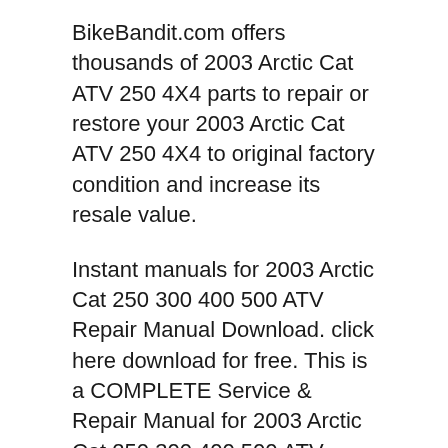BikeBandit.com offers thousands of 2003 Arctic Cat ATV 250 4X4 parts to repair or restore your 2003 Arctic Cat ATV 250 4X4 to original factory condition and increase its resale value.
Instant manuals for 2003 Arctic Cat 250 300 400 500 ATV Repair Manual Download. click here download for free. This is a COMPLETE Service & Repair Manual for 2003 Arctic Cat 250 300 400 500 ATV Repair Manual Download. BikeBandit.com offers thousands of 2003 Arctic Cat ATV 250 4X4 parts to repair or restore your 2003 Arctic Cat ATV 250 4X4 to original factory condition and increase its resale value.